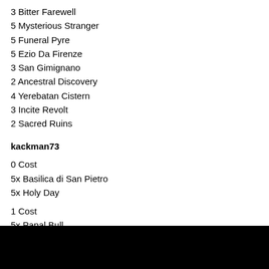3 Bitter Farewell
5 Mysterious Stranger
5 Funeral Pyre
5 Ezio Da Firenze
3 San Gimignano
2 Ancestral Discovery
4 Yerebatan Cistern
3 Incite Revolt
2 Sacred Ruins
kackman73
0 Cost
5x Basilica di San Pietro
5x Holy Day
1 Cost
5x Papal Bull
5x Source of All Life
5x Ottoman Gunman
3 Cost
4x Militia Intimidation
4 Cost